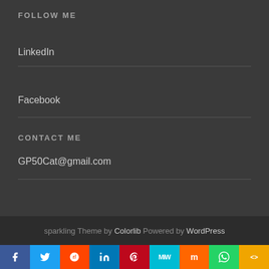FOLLOW ME
LinkedIn
Facebook
CONTACT ME
GP50Cat@gmail.com
sparkling Theme by Colorlib Powered by WordPress